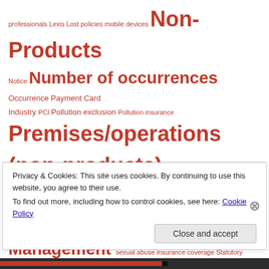professionals Lexis Lost policies mobile devices Non-Products Notice Number of occurrences Occurrence Payment Card Industry PCI Pollution exclusion Pollution insurance Premises/operations (non-products) coverage Privacy Reinsurance Reserves retailers Risk Management sexual abuse insurance coverage Statutory Damages
CATEGORIES
ACCEC
Additional Insured
Privacy & Cookies: This site uses cookies. By continuing to use this website, you agree to their use. To find out more, including how to control cookies, see here: Cookie Policy
Close and accept